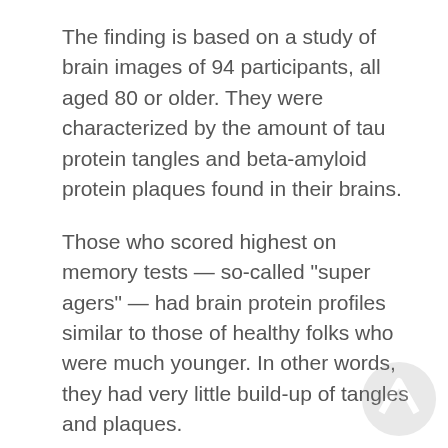The finding is based on a study of brain images of 94 participants, all aged 80 or older. They were characterized by the amount of tau protein tangles and beta-amyloid protein plaques found in their brains.
Those who scored highest on memory tests — so-called "super agers" — had brain protein profiles similar to those of healthy folks who were much younger. In other words, they had very little build-up of tangles and plaques.
But those who were aging normally and scored lower on memory tests had more tangles than younger people. And those who had already been diagnosed with mildly impaired thinking skills had a greater build-up of both tangles and plaques.
"In simple terms, 'super aging' refers to exceptionally